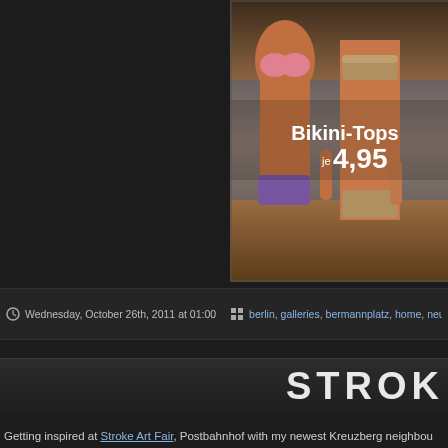[Figure (photo): Advertisement photo showing two women in bikinis at water, with text 'Bikini-Tops je 4,95' overlaid in white]
[Figure (photo): Photo of a store front or interior with golden/warm lighting, partially cropped at right edge]
Wednesday, October 26th, 2011 at 01:00   berlin, galleries, bermannplatz, home, neuko
STROK
Getting inspired at Stroke Art Fair, Postbahnhof with my newest Kreuzberg neighbou 2011/2012.
[Figure (photo): Bottom left thumbnail photo, partially visible]
[Figure (photo): Bottom right thumbnail photo, partially visible]